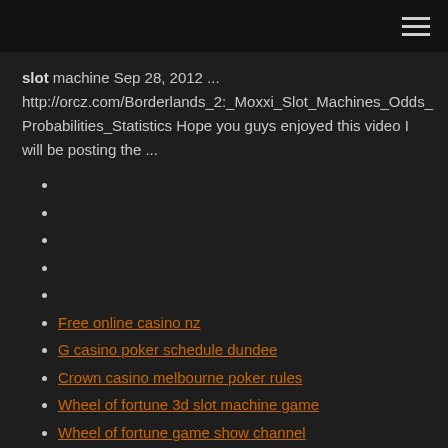slot machine Sep 28, 2012 ... http://orcz.com/Borderlands_2:_Moxxi_Slot_Machines_Odds_Probabilities_Statistics Hope you guys enjoyed this video I will be posting the ...
Free online casino nz
G casino poker schedule dundee
Crown casino melbourne poker rules
Wheel of fortune 3d slot machine game
Wheel of fortune game show channel